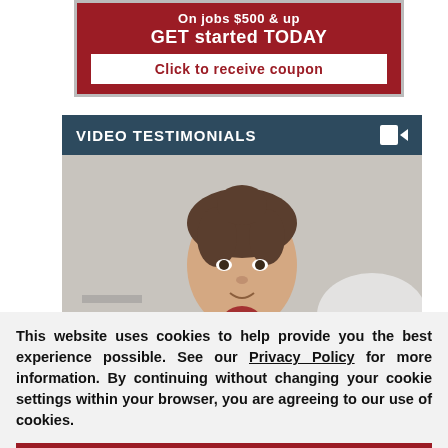[Figure (screenshot): Red coupon banner with text 'On jobs $500 & up GET started TODAY' and a white button 'Click to receive coupon']
VIDEO TESTIMONIALS
[Figure (screenshot): Video thumbnail showing a person's face with a red play button, and a 'Request a Free' badge in the bottom right corner]
This website uses cookies to help provide you the best experience possible. See our Privacy Policy for more information. By continuing without changing your cookie settings within your browser, you are agreeing to our use of cookies.
ACCEPT